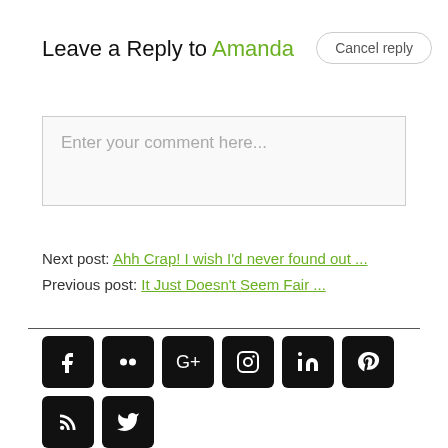Leave a Reply to Amanda
Cancel reply
Enter your comment here...
Next post: Ahh Crap! I wish I'd never found out ...
Previous post: It Just Doesn't Seem Fair ...
[Figure (infographic): Social media icon buttons in black rounded squares: Facebook, Flickr, Google+, Instagram, LinkedIn, Pinterest (top row); RSS, Twitter (bottom row)]